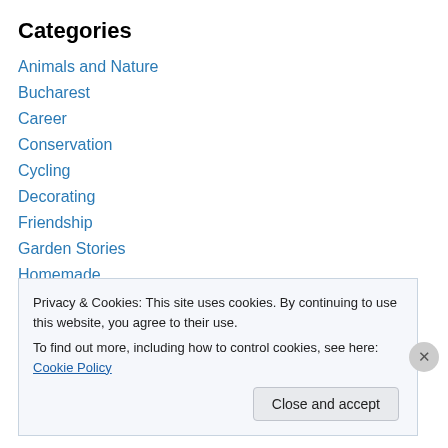Categories
Animals and Nature
Bucharest
Career
Conservation
Cycling
Decorating
Friendship
Garden Stories
Homemade
Inspirational
Lego
Privacy & Cookies: This site uses cookies. By continuing to use this website, you agree to their use.
To find out more, including how to control cookies, see here: Cookie Policy
Close and accept